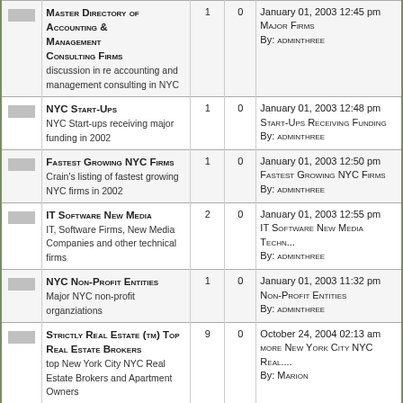|  | Forum | Topics | Posts | Last Post |
| --- | --- | --- | --- | --- |
| [icon] | Master Directory of Accounting & Management Consulting Firms
discussion in re accounting and management consulting in NYC | 1 | 0 | January 01, 2003 12:45 pm
Major Firms
By: adminthree |
| [icon] | NYC Start-Ups
NYC Start-ups receiving major funding in 2002 | 1 | 0 | January 01, 2003 12:48 pm
Start-Ups Receiving Funding
By: adminthree |
| [icon] | Fastest Growing NYC Firms
Crain's listing of fastest growing NYC firms in 2002 | 1 | 0 | January 01, 2003 12:50 pm
Fastest Growing NYC Firms
By: adminthree |
| [icon] | IT Software New Media
IT, Software Firms, New Media Companies and other technical firms | 2 | 0 | January 01, 2003 12:55 pm
IT Software New Media Techn...
By: adminthree |
| [icon] | NYC Non-Profit Entities
Major NYC non-profit organziations | 1 | 0 | January 01, 2003 11:32 pm
Non-Profit Entities
By: adminthree |
| [icon] | Strictly Real Estate (tm) Top Real Estate Brokers
top New York City NYC Real Estate Brokers and Apartment Owners | 9 | 0 | October 24, 2004 02:13 am
more New York City NYC Real....
By: Marion |
| [icon] | New York City NYC Hotels Hostels
extended stay hotels and... | 32 | 0 | October 24, 2004 02:47 am
XYZ MORE HOTELS AND HOTESLS |